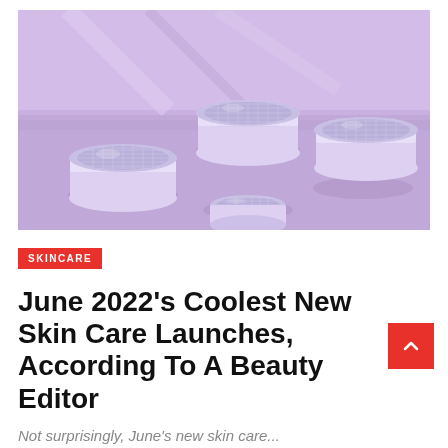[Figure (photo): Four lavender/purple glass cosmetic cream jars with sparkly diamond-patterned lids arranged on a light purple background with fabric texture]
SKINCARE
June 2022's Coolest New Skin Care Launches, According To A Beauty Editor
Not surprisingly, June's new skin care...